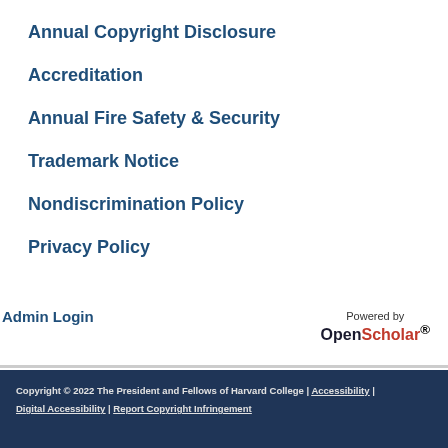Annual Copyright Disclosure
Accreditation
Annual Fire Safety & Security
Trademark Notice
Nondiscrimination Policy
Privacy Policy
Admin Login
Powered by OpenScholar®
Copyright © 2022 The President and Fellows of Harvard College | Accessibility | Digital Accessibility | Report Copyright Infringement